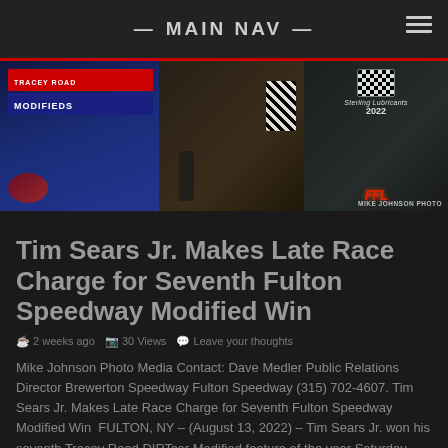— MAIN NAV —
[Figure (photo): Race event photo showing modifieds banner, people with checkered flag, and sponsor logos including Tracey Road Modifieds and Sterling Lubricants 2022. Mike Johnson Photo watermark visible.]
Tim Sears Jr. Makes Late Race Charge for Seventh Fulton Speedway Modified Win
2 weeks ago   30 Views   Leave your thoughts
Mike Johnson Photo Media Contact: Dave Medler Public Relations Director Brewerton Speedway Fulton Speedway (315) 702-4607. Tim Sears Jr. Makes Late Race Charge for Seventh Fulton Speedway Modified Win  FULTON, NY – (August 13, 2022) – Tim Sears Jr. won his seventh Tracey Road DIRTcar Modified feature of the year Saturday night at the Fulton Speedway, but the win did not come easy.  In the 35-Lap Modified feature Sears would first run-down race leader Marshall Hurd, then to make this win stick he